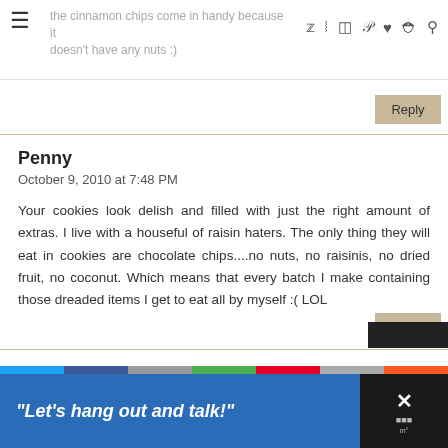the cinnamon chips come in handy because it doesn't have any nuts :) [social icons]
Reply
Penny
October 9, 2010 at 7:48 PM
Your cookies look delish and filled with just the right amount of extras. I live with a houseful of raisin haters. The only thing they will eat in cookies are chocolate chips....no nuts, no raisinis, no dried fruit, no coconut. Which means that every batch I make containing those dreaded items I get to eat all by myself :( LOL
Reply
"Let's hang out and talk!"